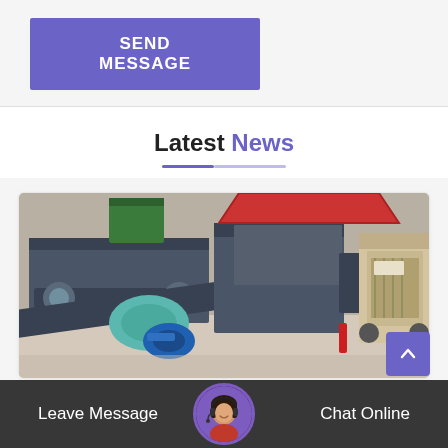SEND MESSAGE
Latest News
[Figure (photo): Industrial machinery — multiple coal/ore briquette press machines or roll crushers in a factory/warehouse setting. Dark gray steel frames with motors (blue and teal), red-rimmed hopper on one unit, beige jaw crusher visible at right.]
Leave Message
Chat Online